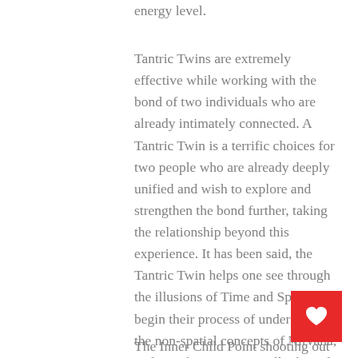energy level.
Tantric Twins are extremely effective while working with the bond of two individuals who are already intimately connected. A Tantric Twin is a terrific choices for two people who are already deeply unified and wish to explore and strengthen the bond further, taking the relationship beyond this experience. It has been said, the Tantric Twin helps one see through the illusions of Time and Space and begin their process of understanding the non-spatial concepts of Nirvana, a place of awareness totally devoid of content, the place of Non-Being.
The Inner Child Point shooting out of the